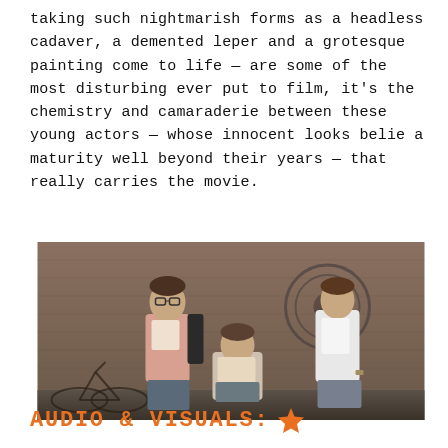taking such nightmarish forms as a headless cadaver, a demented leper and a grotesque painting come to life — are some of the most disturbing ever put to film, it's the chemistry and camaraderie between these young actors — whose innocent looks belie a maturity well beyond their years — that really carries the movie.
[Figure (photo): Three young male actors standing against a graffiti-covered brick wall. Left actor wears glasses, pink shirt, and backpack. Center actor is crouching in a light shirt. Right actor stands in a white short-sleeve dress shirt.]
AUDIO & VISUALS: ★